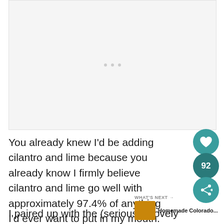[Figure (photo): Placeholder image area with three light gray dots centered, indicating a loading or empty image slot]
You already knew I'd be adding cilantro and lime because you already know I firmly believe cilantro and lime go well with approximately 97.4% of anything I'd ever want to put in my mouth.
I paired up with the (seriously) lovely people over at